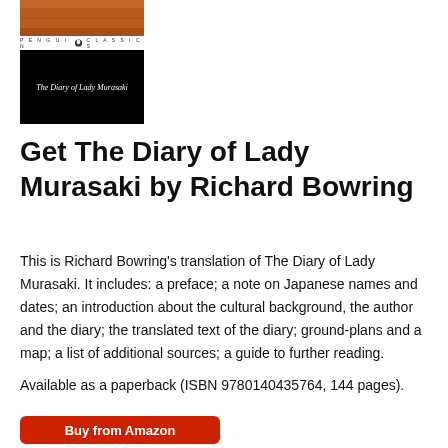[Figure (photo): Book cover of 'The Diary of Lady Murasaki' Penguin Classics edition, showing a reddish-brown artwork on top, a Penguin Classics logo bar, and a black section with italic white title text.]
Get The Diary of Lady Murasaki by Richard Bowring
This is Richard Bowring's translation of The Diary of Lady Murasaki. It includes: a preface; a note on Japanese names and dates; an introduction about the cultural background, the author and the diary; the translated text of the diary; ground-plans and a map; a list of additional sources; a guide to further reading.
Available as a paperback (ISBN 9780140435764, 144 pages).
Buy from Amazon